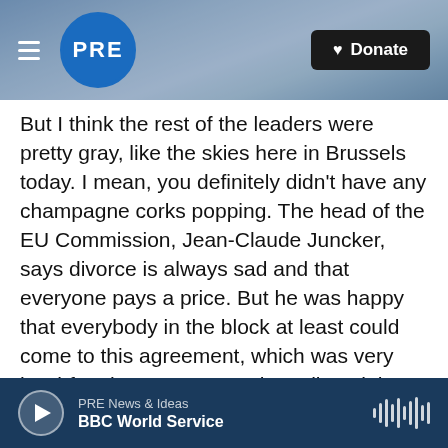PRE — Donate
But I think the rest of the leaders were pretty gray, like the skies here in Brussels today. I mean, you definitely didn't have any champagne corks popping. The head of the EU Commission, Jean-Claude Juncker, says divorce is always sad and that everyone pays a price. But he was happy that everybody in the block at least could come to this agreement, which was very hard-fought. Everyone's also relieved that they may be spared this so-called crashing out of the European Union by the U.K. if there wasn't a deal, which would've really caused a lot of problems with trade, with travel. It would have cost a lot more than what's
PRE News & Ideas — BBC World Service